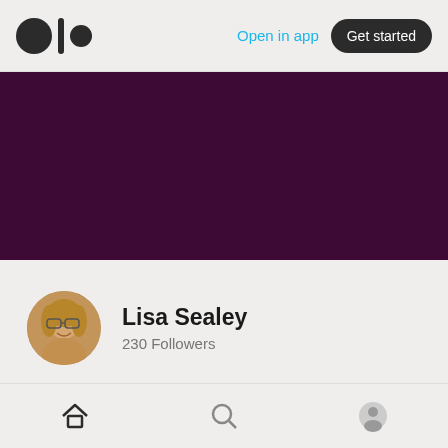Medium logo | Open in app | Get started
[Figure (photo): Dark purple/maroon banner background covering the top portion of the profile page]
[Figure (photo): Circular avatar photo of Lisa Sealey, a woman with glasses and blonde hair, smiling]
Lisa Sealey
230 Followers
Follow | Subscribe (envelope icon)
Home   About
Home icon | Search icon | Profile icon